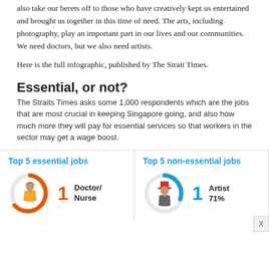also take our berets off to those who have creatively kept us entertained and brought us together in this time of need. The arts, including photography, play an important part in our lives and our communities. We need doctors, but we also need artists.
Here is the full infographic, published by The Strait Times.
Essential, or not?
The Straits Times asks some 1,000 respondents which are the jobs that are most crucial in keeping Singapore going, and also how much more they will pay for essential services so that workers in the sector may get a wage boost.
[Figure (infographic): Two-column infographic panel. Left: 'Top 5 essential jobs' with donut chart icon (orange) showing a female figure, rank 1 = Doctor/Nurse. Right: 'Top 5 non-essential jobs' with donut chart icon (blue) showing a male figure with red hat, rank 1 = Artist 71%.]